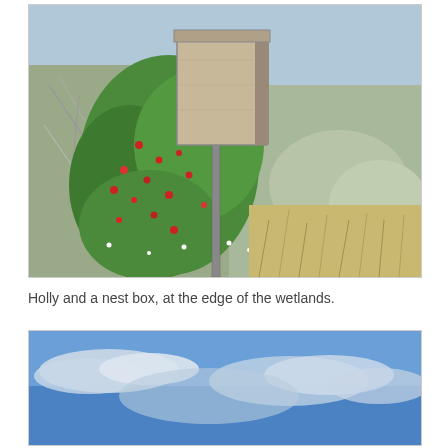[Figure (photo): A wooden nest box mounted on a metal pole, surrounded by green holly bushes with red berries and bare gray branches, with dry grassland and shrubs in the background.]
Holly and a nest box, at the edge of the wetlands.
[Figure (photo): A blue sky with scattered white clouds, partial view at the bottom of the page.]